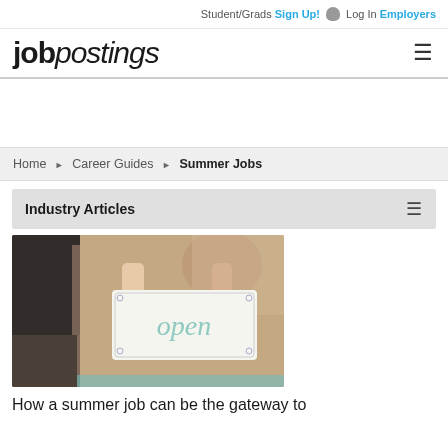Student/Grads Sign Up! Log In Employers
jobpostings
Home ▶ Career Guides ▶ Summer Jobs
Industry Articles
[Figure (photo): Person holding an 'open' sign in a shop window]
How a summer job can be the gateway to